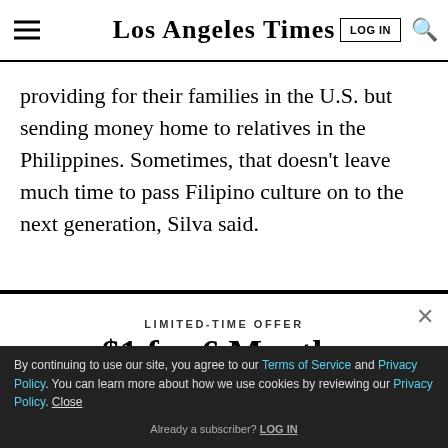Los Angeles Times
providing for their families in the U.S. but sending money home to relatives in the Philippines. Sometimes, that doesn’t leave much time to pass Filipino culture on to the next generation, Silva said.
LIMITED-TIME OFFER
$1 for 6 Months
SUBSCRIBE NOW
By continuing to use our site, you agree to our Terms of Service and Privacy Policy. You can learn more about how we use cookies by reviewing our Privacy Policy. Close